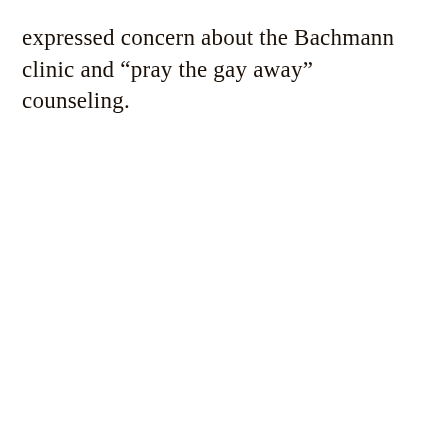expressed concern about the Bachmann clinic and “pray the gay away” counseling.